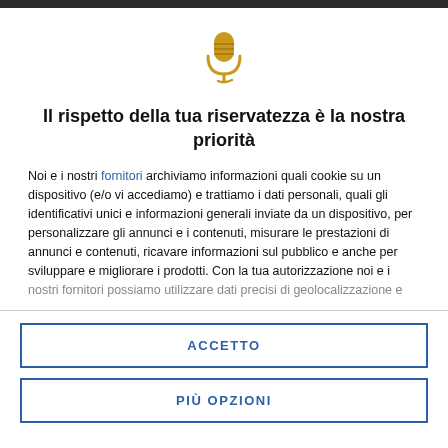[Figure (illustration): Gold microphone icon with a small curl at the base, centered at the top of the card]
Il rispetto della tua riservatezza è la nostra priorità
Noi e i nostri fornitori archiviamo informazioni quali cookie su un dispositivo (e/o vi accediamo) e trattiamo i dati personali, quali gli identificativi unici e informazioni generali inviate da un dispositivo, per personalizzare gli annunci e i contenuti, misurare le prestazioni di annunci e contenuti, ricavare informazioni sul pubblico e anche per sviluppare e migliorare i prodotti. Con la tua autorizzazione noi e i nostri fornitori possiamo utilizzare dati precisi di geolocalizzazione e
ACCETTO
PIÙ OPZIONI